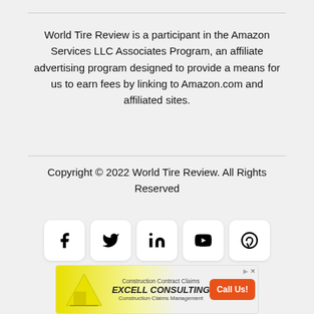World Tire Review is a participant in the Amazon Services LLC Associates Program, an affiliate advertising program designed to provide a means for us to earn fees by linking to Amazon.com and affiliated sites.
Copyright © 2022 World Tire Review. All Rights Reserved
[Figure (infographic): Social media icon buttons for Facebook, Twitter, LinkedIn, YouTube, and Pinterest]
[Figure (infographic): Advertisement banner for Excell Consulting - Construction Contract Claims / Construction Claims Management with orange Call Us! button]